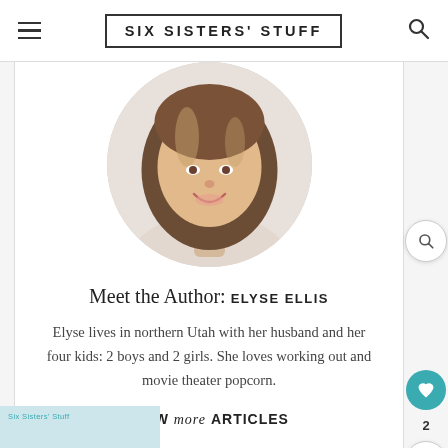SIX SISTERS' STUFF
[Figure (photo): Circular portrait photo of Elyse Ellis, a smiling woman with long brown and blonde hair, wearing a light cream/beige knit sweater. White background.]
Meet the Author: ELYSE ELLIS
Elyse lives in northern Utah with her husband and her four kids: 2 boys and 2 girls. She loves working out and movie theater popcorn.
VIEW more ARTICLES